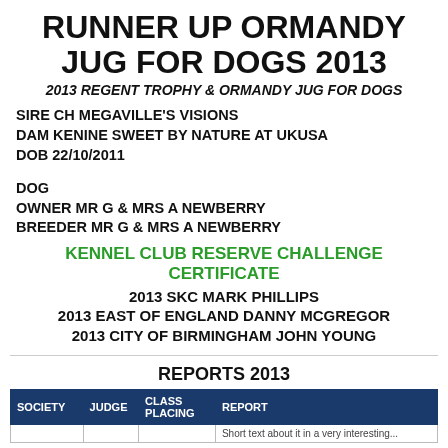RUNNER UP ORMANDY JUG FOR DOGS 2013
2013 REGENT TROPHY & ORMANDY JUG FOR DOGS
SIRE CH MEGAVILLE'S VISIONS
DAM KENINE SWEET BY NATURE AT UKUSA
DOB 22/10/2011
DOG
OWNER MR G & MRS A NEWBERRY
BREEDER MR G & MRS A NEWBERRY
KENNEL CLUB RESERVE CHALLENGE CERTIFICATE
2013 SKC MARK PHILLIPS
2013 EAST OF ENGLAND DANNY MCGREGOR
2013 CITY OF BIRMINGHAM JOHN YOUNG
REPORTS 2013
| SOCIETY | JUDGE | CLASS PLACING | REPORT |
| --- | --- | --- | --- |
|  |  |  |  |